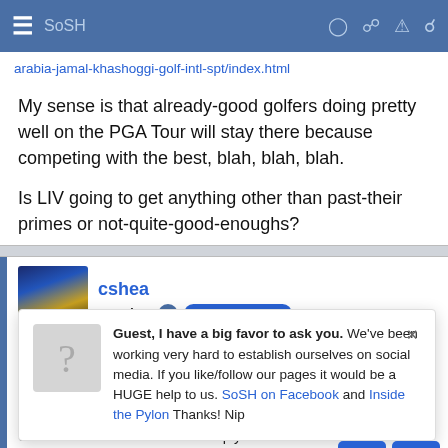SoSH
arabia-jamal-khashoggi-golf-intl-spt/index.html
My sense is that already-good golfers doing pretty well on the PGA Tour will stay there because competing with the best, blah, blah, blah.
Is LIV going to get anything other than past-their primes or not-quite-good-enoughs?
cshea
Member SoSH Member
Guest, I have a big favor to ask you. We've been working very hard to establish ourselves on social media. If you like/follow our pages it would be a HUGE help to us. SoSH on Facebook and Inside the Pylon Thanks! Nip
#567
sshole. In addition to s also pushed on Sa . His reply?
http://...di-liv-go...ha-khashoggi/